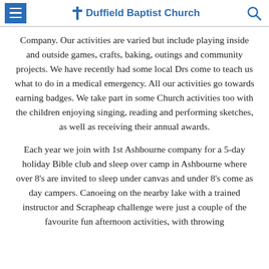Duffield Baptist Church
Company. Our activities are varied but include playing inside and outside games, crafts, baking, outings and community projects. We have recently had some local Drs come to teach us what to do in a medical emergency. All our activities go towards earning badges. We take part in some Church activities too with the children enjoying singing, reading and performing sketches, as well as receiving their annual awards.
Each year we join with 1st Ashbourne company for a 5-day holiday Bible club and sleep over camp in Ashbourne where over 8's are invited to sleep under canvas and under 8's come as day campers. Canoeing on the nearby lake with a trained instructor and Scrapheap challenge were just a couple of the favourite fun afternoon activities, with throwing